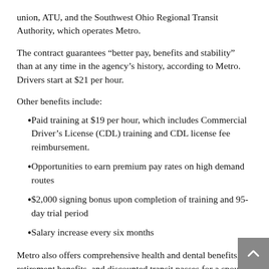union, ATU, and the Southwest Ohio Regional Transit Authority, which operates Metro.
The contract guarantees “better pay, benefits and stability” than at any time in the agency’s history, according to Metro. Drivers start at $21 per hour.
Other benefits include:
Paid training at $19 per hour, which includes Commercial Driver’s License (CDL) training and CDL license fee reimbursement.
Opportunities to earn premium pay rates on high demand routes
$2,000 signing bonus upon completion of training and 95-day trial period
Salary increase every six months
Metro also offers comprehensive health and dental benefits, retirement benefits, and discounted transit passes for a spouse